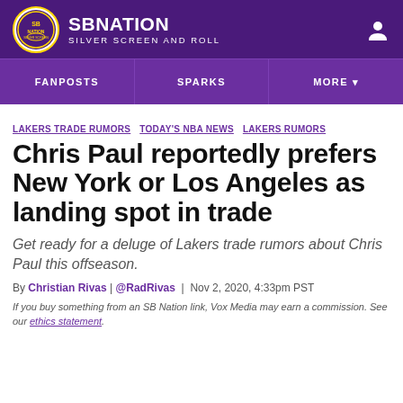SB NATION | SILVER SCREEN AND ROLL
FANPOSTS   SPARKS   MORE
LAKERS TRADE RUMORS  TODAY'S NBA NEWS  LAKERS RUMORS
Chris Paul reportedly prefers New York or Los Angeles as landing spot in trade
Get ready for a deluge of Lakers trade rumors about Chris Paul this offseason.
By Christian Rivas | @RadRivas | Nov 2, 2020, 4:33pm PST
If you buy something from an SB Nation link, Vox Media may earn a commission. See our ethics statement.